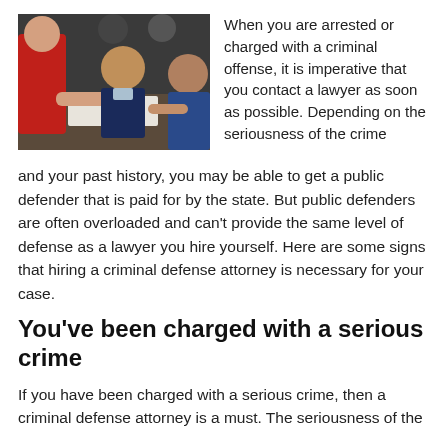[Figure (photo): People sitting around a table in a meeting, one person in a red jacket handing a document to a man in a suit, another man with back to camera in blue jacket.]
When you are arrested or charged with a criminal offense, it is imperative that you contact a lawyer as soon as possible. Depending on the seriousness of the crime and your past history, you may be able to get a public defender that is paid for by the state. But public defenders are often overloaded and can't provide the same level of defense as a lawyer you hire yourself. Here are some signs that hiring a criminal defense attorney is necessary for your case.
You've been charged with a serious crime
If you have been charged with a serious crime, then a criminal defense attorney is a must. The seriousness of the